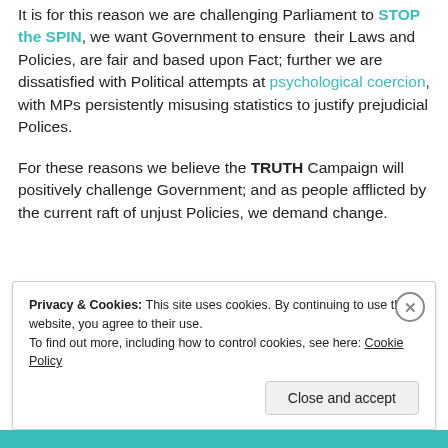It is for this reason we are challenging Parliament to STOP the SPIN, we want Government to ensure their Laws and Policies, are fair and based upon Fact; further we are dissatisfied with Political attempts at psychological coercion, with MPs persistently misusing statistics to justify prejudicial Polices.
For these reasons we believe the TRUTH Campaign will positively challenge Government; and as people afflicted by the current raft of unjust Policies, we demand change.
Privacy & Cookies: This site uses cookies. By continuing to use this website, you agree to their use. To find out more, including how to control cookies, see here: Cookie Policy